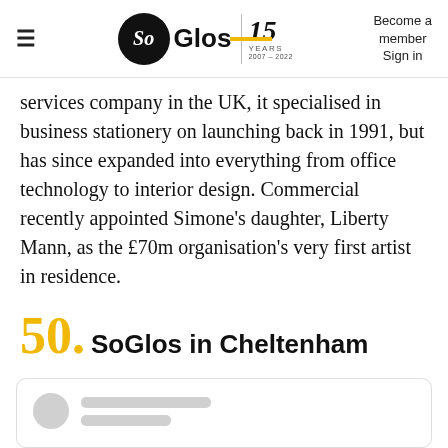SoGlos | 15 Years | Become a member | Sign in
services company in the UK, it specialised in business stationery on launching back in 1991, but has since expanded into everything from office technology to interior design. Commercial recently appointed Simone's daughter, Liberty Mann, as the £70m organisation's very first artist in residence.
50. SoGlos in Cheltenham
[Figure (other): Card placeholder with circular avatar and two grey lines representing loading content]